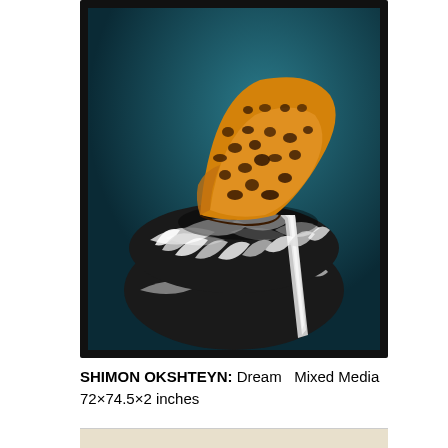[Figure (photo): A framed mixed media artwork by Shimon Okshteyn titled 'Dream'. The image shows a leopard-print high-heel stiletto shoe balanced on top of a zebra-print object (possibly a handbag or cushion) against a dark teal/blue background. The frame is black.]
SHIMON OKSHTEYN: Dream   Mixed Media 72×74.5×2 inches